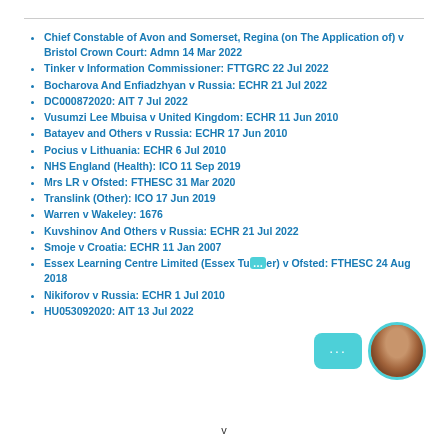Chief Constable of Avon and Somerset, Regina (on The Application of) v Bristol Crown Court: Admn 14 Mar 2022
Tinker v Information Commissioner: FTTGRC 22 Jul 2022
Bocharova And Enfiadzhyan v Russia: ECHR 21 Jul 2022
DC000872020: AIT 7 Jul 2022
Vusumzi Lee Mbuisa v United Kingdom: ECHR 11 Jun 2010
Batayev and Others v Russia: ECHR 17 Jun 2010
Pocius v Lithuania: ECHR 6 Jul 2010
NHS England (Health): ICO 11 Sep 2019
Mrs LR v Ofsted: FTHESC 31 Mar 2020
Translink (Other): ICO 17 Jun 2019
Warren v Wakeley: 1676
Kuvshinov And Others v Russia: ECHR 21 Jul 2022
Smoje v Croatia: ECHR 11 Jan 2007
Essex Learning Centre Limited (Essex Tu...er) v Ofsted: FTHESC 24 Aug 2018
Nikiforov v Russia: ECHR 1 Jul 2010
HU053092020: AIT 13 Jul 2022
v